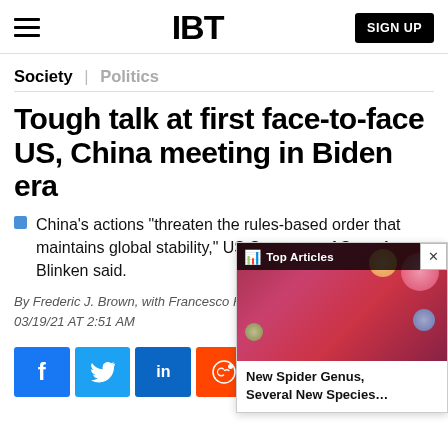IBT  SIGN UP
Society | Politics
Tough talk at first face-to-face US, China meeting in Biden era
China's actions "threaten the rules-based order that maintains global stability," US Secretary of State Antony Blinken said.
By Frederic J. Brown, with Francesco Fo…
03/19/21 AT 2:51 AM
[Figure (screenshot): Top Articles widget overlay showing image of colorful portrait and text 'New Spider Genus, Several New Species...']
Social share buttons: Facebook, Twitter, LinkedIn, Reddit, Flipboard, Email, Comment